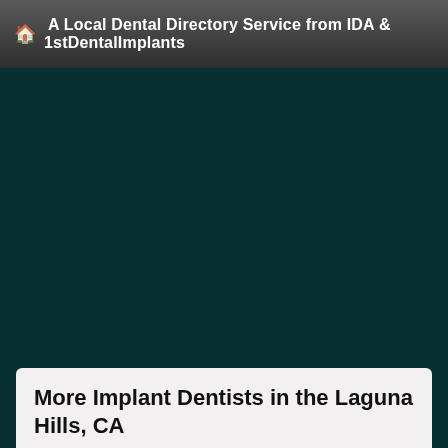A Local Dental Directory Service from IDA & 1stDentalImplants
[Figure (other): Dark teal/green background area serving as a decorative or map/image placeholder region]
More Implant Dentists in the Laguna Hills, CA